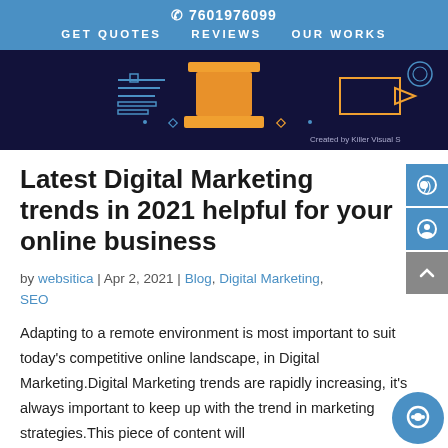☎ 7601976099  GET QUOTES  REVIEWS  OUR WORKS
[Figure (illustration): Dark navy banner with orange and blue geometric digital marketing graphic elements; text 'Created by Killer Visual S' visible in lower right]
Latest Digital Marketing trends in 2021 helpful for your online business
by websitica | Apr 2, 2021 | Blog, Digital Marketing, SEO
Adapting to a remote environment is most important to suit today's competitive online landscape, in Digital Marketing.Digital Marketing trends are rapidly increasing, it's always important to keep up with the trend in marketing strategies.This piece of content will